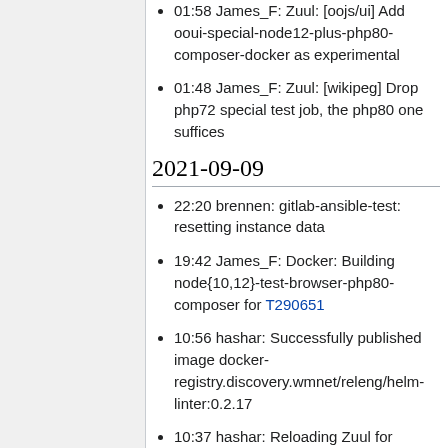01:58 James_F: Zuul: [oojs/ui] Add ooui-special-node12-plus-php80-composer-docker as experimental
01:48 James_F: Zuul: [wikipeg] Drop php72 special test job, the php80 one suffices
2021-09-09
22:20 brennen: gitlab-ansible-test: resetting instance data
19:42 James_F: Docker: Building node{10,12}-test-browser-php80-composer for T290651
10:56 hashar: Successfully published image docker-registry.discovery.wmnet/releng/helm-linter:0.2.17
10:37 hashar: Reloading Zuul for https://gerrit.wikimedia.org/r/c/integra